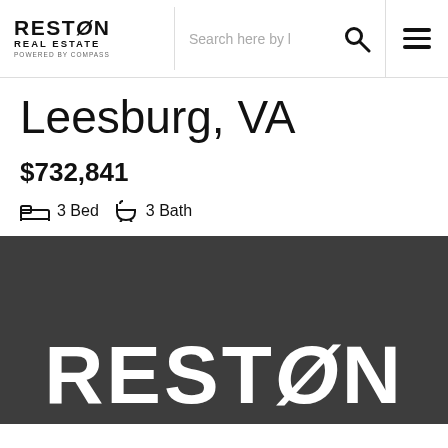[Figure (logo): Reston Real Estate Powered by Compass logo in top left navigation bar]
Leesburg, VA
$732,841
3 Bed   3 Bath
[Figure (logo): Large RESTON text logo in white on dark gray background footer]